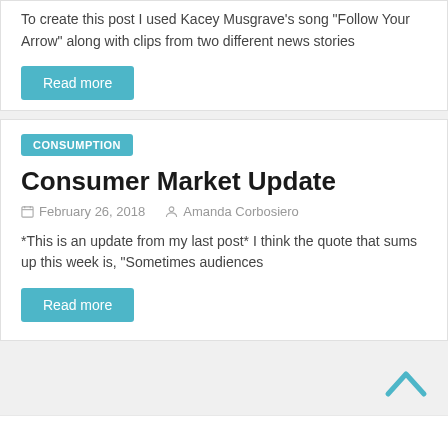To create this post I used Kacey Musgrave's song “Follow Your Arrow” along with clips from two different news stories
Read more
CONSUMPTION
Consumer Market Update
February 26, 2018   Amanda Corbosiero
*This is an update from my last post* I think the quote that sums up this week is, “Sometimes audiences
Read more